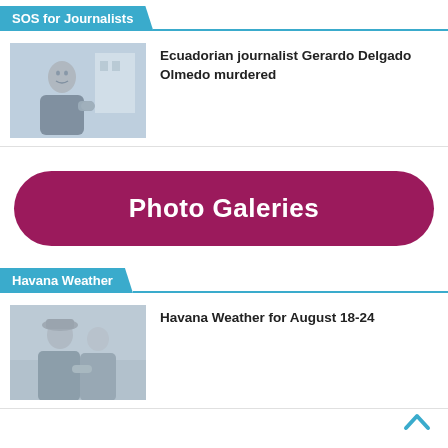SOS for Journalists
[Figure (photo): Photo of a young man, thumbnail for SOS for Journalists article]
Ecuadorian journalist Gerardo Delgado Olmedo murdered
[Figure (other): Photo Galeries button]
Havana Weather
[Figure (photo): Photo of a person, thumbnail for Havana Weather article]
Havana Weather for August 18-24